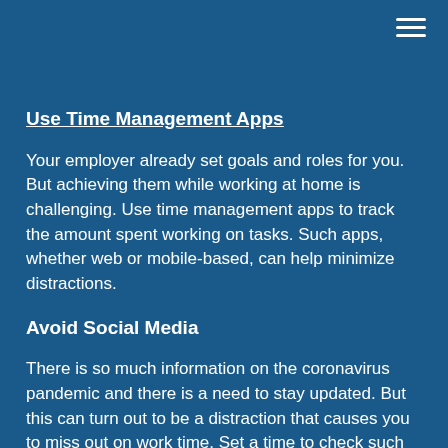Use Time Management Apps
Your employer already set goals and roles for you. But achieving them while working at home is challenging. Use time management apps to track the amount spent working on tasks. Such apps, whether web or mobile-based, can help minimize distractions.
Avoid Social Media
There is so much information on the coronavirus pandemic and there is a need to stay updated. But this can turn out to be a distraction that causes you to miss out on work time. Set a time to check such updates and stick to it.